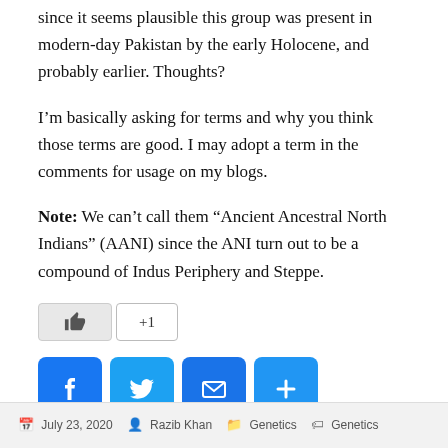since it seems plausible this group was present in modern-day Pakistan by the early Holocene, and probably earlier. Thoughts?
I’m basically asking for terms and why you think those terms are good. I may adopt a term in the comments for usage on my blogs.
Note: We can’t call them “Ancient Ancestral North Indians” (AANI) since the ANI turn out to be a compound of Indus Periphery and Steppe.
[Figure (other): Like button (thumbs up icon) and +1 counter button]
[Figure (other): Social share buttons: Facebook, Twitter, Email, Share (plus icon)]
July 23, 2020   Razib Khan   Genetics   Genetics